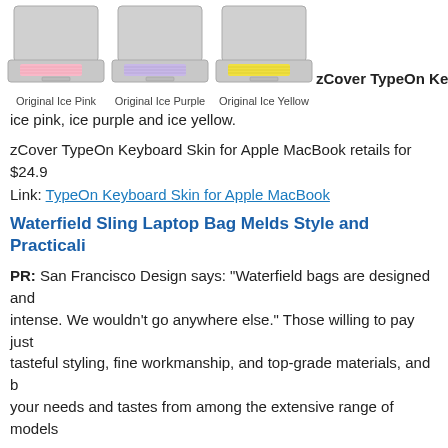[Figure (photo): Three laptop images with colored keyboard covers: Original Ice Pink (pink keyboard), Original Ice Purple (purple keyboard), Original Ice Yellow (yellow keyboard), followed by partial text 'zCover TypeOn Keyb']
ice pink, ice purple and ice yellow.
zCover TypeOn Keyboard Skin for Apple MacBook retails for $24.9
Link: TypeOnKeyboard Skin for Apple MacBook
Waterfield Sling Laptop Bag Melds Style and Practicali
PR: San Francisco Design says: "Waterfield bags are designed and intense. We wouldn't go anywhere else." Those willing to pay just tasteful styling, fine workmanship, and top-grade materials, and b your needs and tastes from among the extensive range of models
You can read my reviews of the Waterfield Cargo, Cozmo, and Rac
Waterfield Cargo Mambo Combo Laptop Case
Waterfield Cozmo Mambo Combo Laptop Case
Waterfield RacerX Computer Bag for 17" MacBook Pro and P